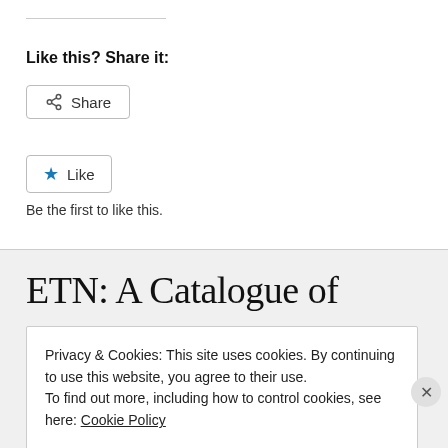Like this? Share it:
[Figure (other): Share button with share icon]
[Figure (other): Like button with blue star icon]
Be the first to like this.
ETN: A Catalogue of
Privacy & Cookies: This site uses cookies. By continuing to use this website, you agree to their use.
To find out more, including how to control cookies, see here: Cookie Policy
Close and accept